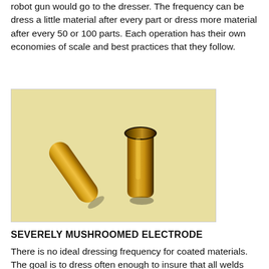robot gun would go to the dresser. The frequency can be dress a little material after every part or dress more material after every 50 or 100 parts. Each operation has their own economies of scale and best practices that they follow.
[Figure (photo): Two gold/brass colored welding electrodes on a light yellow/tan background. The left electrode is tilted diagonally and appears cylindrical. The right electrode is upright and shows a mushroomed/flattened tip from use.]
SEVERELY MUSHROOMED ELECTRODE
There is no ideal dressing frequency for coated materials. The goal is to dress often enough to insure that all welds are acceptable per specification at the best cost.